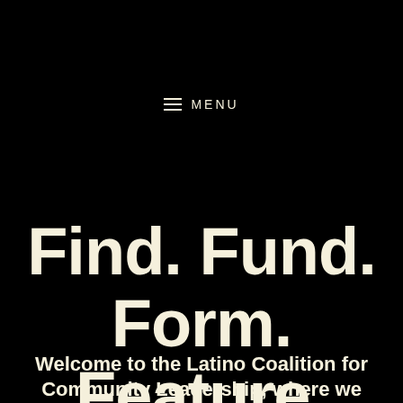≡ MENU
Find. Fund. Form. Feature.
Welcome to the Latino Coalition for Community Leadership, where we